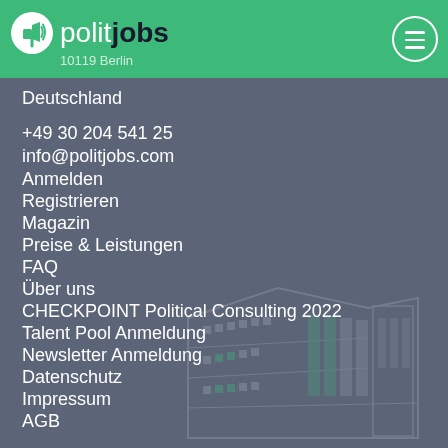politjobs — 10119 Berlin
Deutschland
+49 30 204 541 25
info@politjobs.com
Anmelden
Registrieren
Magazin
Preise & Leistungen
FAQ
Über uns
CHECKPOINT Political Consulting 2022
Talent Pool Anmeldung
Newsletter Anmeldung
Datenschutz
Impressum
AGB